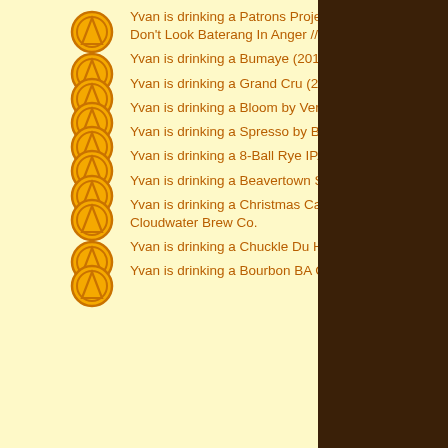Yvan is drinking a Patrons Project 5.05 // India Pale Ale // Ben Mather // Northern Heroes // Don't Look Baterang In Anger // Track by Northern Monk
Yvan is drinking a Bumaye (2013) by 8 Wired
Yvan is drinking a Grand Cru (2015) by 8 Wired
Yvan is drinking a Bloom by Verdant Brewing Co at The Bank
Yvan is drinking a Spresso by Beavertown at The Ostrich Inn
Yvan is drinking a 8-Ball Rye IPA by Beavertown at The Ostrich Inn
Yvan is drinking a Beavertown Says Logistical Nightmare by Beavertown at The Ostrich Inn
Yvan is drinking a Christmas Cake Imperial Stout – Special Edition – Collaboration by Cloudwater Brew Co.
Yvan is drinking a Chuckle Du Haut by Cloudwater Brew Co.
Yvan is drinking a Bourbon BA Chocolate Imperial Stout by Cloudwater Brew Co.